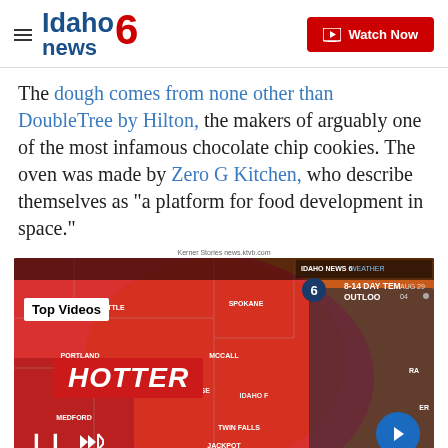Idaho News 6 — Watch Now
The dough comes from none other than DoubleTree by Hilton, the makers of arguably one of the most infamous chocolate chip cookies. The oven was made by Zero G Kitchen, who describe themselves as "a platform for food development in space."
Kerner Stories news.ktvb.com
[Figure (screenshot): Idaho News 6 weather broadcast screenshot showing a weather map of the Pacific Northwest with 'HOTTER' label in red, a female meteorologist on the right, and 8-14 DAY TEMPERATURE OUTLOOK text. City labels include Seattle, Spokane, Portland, McCall, Boise, Medford, Twin Falls, Jackpot, Idaho Falls, Salt Lake. Overlaid with a Top Videos label and video playback controls.]